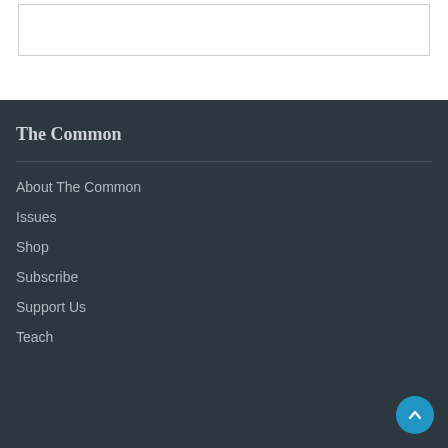The Common
About The Common
Issues
Shop
Subscribe
Support Us
Teach